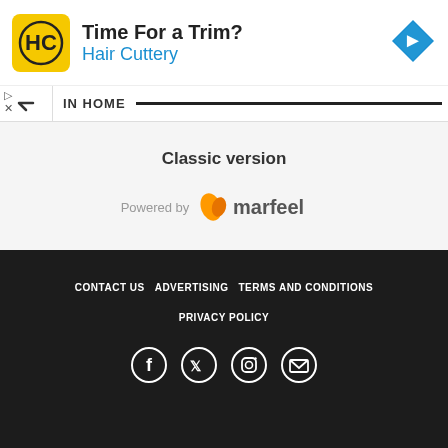[Figure (infographic): Hair Cuttery advertisement banner with yellow logo, 'Time For a Trim?' headline, 'Hair Cuttery' subtitle in blue, and blue diamond navigation icon on right]
IN HOME
Classic version
[Figure (logo): Powered by marfeel logo with orange leaf icon and grey/dark text]
CONTACT US  ADVERTISING  TERMS AND CONDITIONS  PRIVACY POLICY
[Figure (infographic): Social media icons: Facebook, Twitter, Instagram, Email - white circle outline icons on dark background]